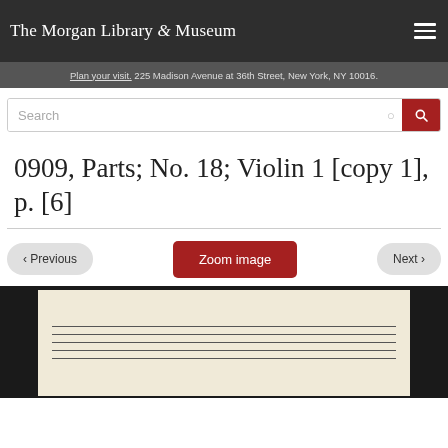The Morgan Library & Museum
Plan your visit. 225 Madison Avenue at 36th Street, New York, NY 10016.
Search
0909, Parts; No. 18; Violin 1 [copy 1], p. [6]
Zoom image
‹ Previous
Next ›
[Figure (photo): Partial view of a manuscript music sheet with blank staff lines on aged paper, framed by dark border]